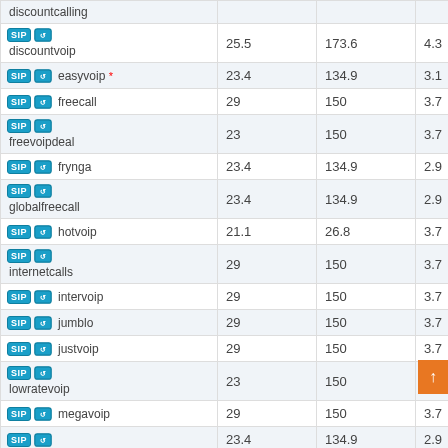| Provider | Col2 | Col3 | Col4 |
| --- | --- | --- | --- |
| discountcalling |  |  |  |
| discountvoip | 25.5 | 173.6 | 4.3 |
| easyvoip * | 23.4 | 134.9 | 3.1 |
| freecall | 29 | 150 | 3.7 |
| freevoipdeal | 23 | 150 | 3.7 |
| frynga | 23.4 | 134.9 | 2.9 |
| globalfreecall | 23.4 | 134.9 | 2.9 |
| hotvoip | 21.1 | 26.8 | 3.7 |
| internetcalls | 29 | 150 | 3.7 |
| intervoip | 29 | 150 | 3.7 |
| jumblo | 29 | 150 | 3.7 |
| justvoip | 29 | 150 | 3.7 |
| lowratevoip | 23 | 150 | 3.7 |
| megavoip | 29 | 150 | 3.7 |
| (last row) | 23.4 | 134.9 | 2.9 |